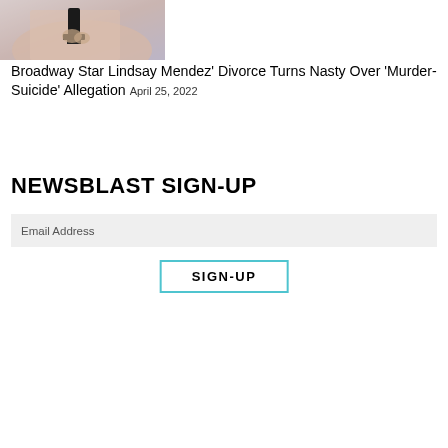[Figure (photo): Partial view of a person in a beaded/sequined dress holding a black award trophy against a light purple/blue background]
Broadway Star Lindsay Mendez' Divorce Turns Nasty Over 'Murder-Suicide' Allegation April 25, 2022
NEWSBLAST SIGN-UP
Email Address
SIGN-UP